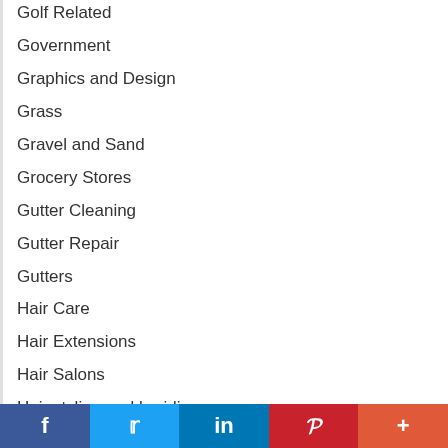Golf Related
Government
Graphics and Design
Grass
Gravel and Sand
Grocery Stores
Gutter Cleaning
Gutter Repair
Gutters
Hair Care
Hair Extensions
Hair Salons
Hair styling and braiding
Handymen
f  t  in  P  +